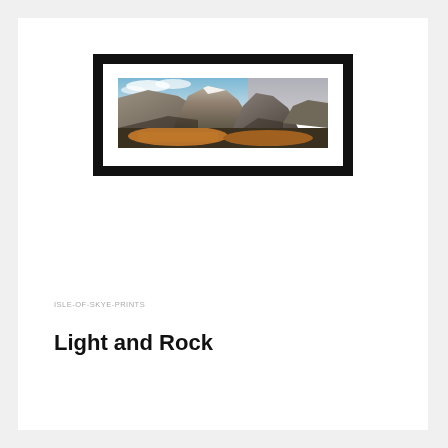[Figure (photo): A framed panoramic landscape photograph showing rocky mountains with snow patches, blue sky with clouds, and orange-brown moorland in the foreground. The photo is matted in white within a black frame.]
ISLE-OF-SKYE-PRINTS
Light and Rock